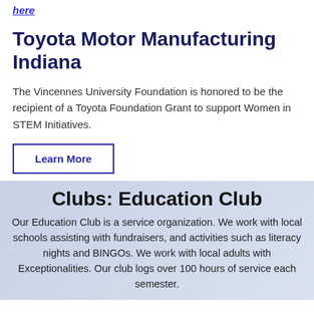here
Toyota Motor Manufacturing Indiana
The Vincennes University Foundation is honored to be the recipient of a Toyota Foundation Grant to support Women in STEM Initiatives.
Learn More
Clubs: Education Club
Our Education Club is a service organization. We work with local schools assisting with fundraisers, and activities such as literacy nights and BINGOs. We work with local adults with Exceptionalities. Our club logs over 100 hours of service each semester.